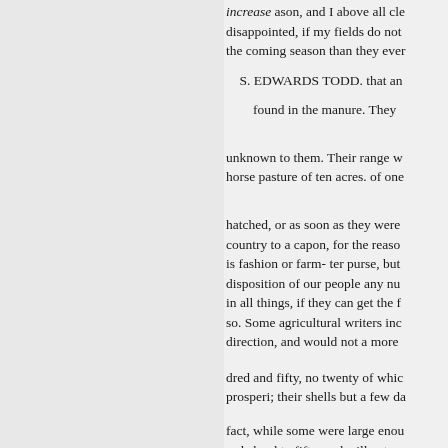increase ason, and I above all cle disappointed, if my fields do not the coming season than they ever
S. EDWARDS TODD. that an
found in the manure. They
unknown to them. Their range w horse pasture of ten acres. of one
hatched, or as soon as they were country to a capon, for the reaso is fashion or farm- ter purse, but disposition of our people any nu in all things, if they can get the f so. Some agricultural writers inc direction, and would not a more
dred and fifty, no twenty of whic prosperi; their shells but a few da
fact, while some were large enou rode hard to fifty, and will get as —"plow deep" has been their N